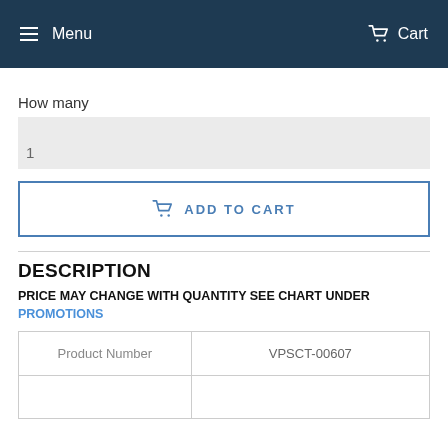Menu   Cart
How many
1
ADD TO CART
DESCRIPTION
PRICE MAY CHANGE WITH QUANTITY SEE CHART UNDER PROMOTIONS
| Product Number |  |
| --- | --- |
| Product Number | VPSCT-00607 |
|  |  |